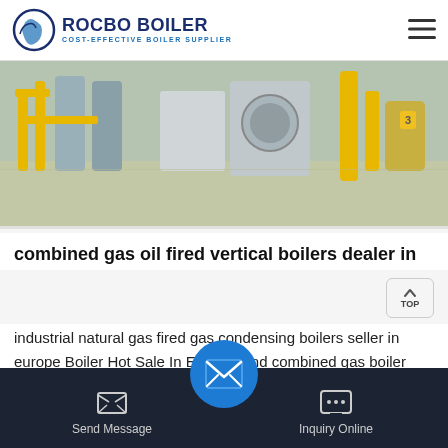ROCBO BOILER - COST-EFFECTIVE BOILER SUPPLIER
[Figure (photo): Industrial boiler room with yellow gas pipes, industrial boilers, and mechanical equipment on a polished concrete floor]
combined gas oil fired vertical boilers dealer in
industrial natural gas fired gas condensing boilers seller in europe Boiler Hot Sale In Europe Find combined gas boiler dealer - malvenhues.de. combined vertical boiler dealer. 350 Bhp Condensing Boiler Manufacturer. Commercial 350 Bhp Horizonta...
Send Message | Inquiry Online